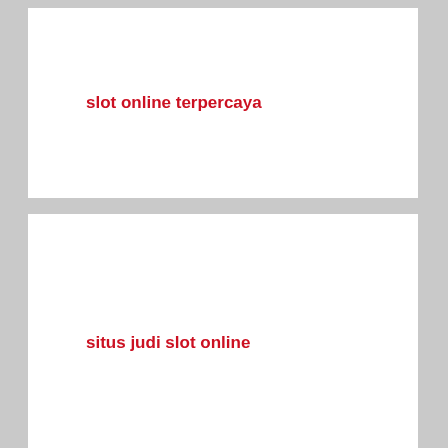slot online terpercaya
situs judi slot online
situs slot online indonesia
sgp hari ini